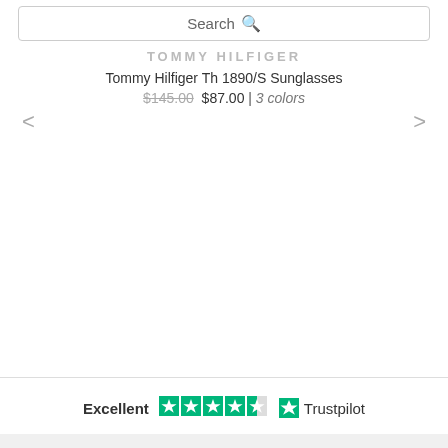[Figure (screenshot): Search bar with magnifying glass icon]
TOMMY HILFIGER
Tommy Hilfiger Th 1890/S Sunglasses
$145.00 $87.00 | 3 colors
[Figure (infographic): Trustpilot Excellent rating with 4.5 green stars and Trustpilot logo]
SIGN UP NOW FOR 60% OFF RX LENSES INSTANTLY!